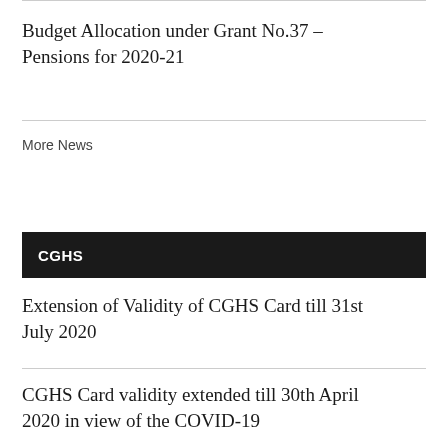Budget Allocation under Grant No.37 – Pensions for 2020-21
More News
CGHS
Extension of Validity of CGHS Card till 31st July 2020
CGHS Card validity extended till 30th April 2020 in view of the COVID-19